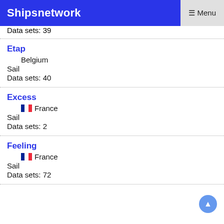Shipsnetwork   ☰ Menu
Data sets: 39
Etap
Belgium
Sail
Data sets: 40
Excess
🇫🇷 France
Sail
Data sets: 2
Feeling
🇫🇷 France
Sail
Data sets: 72